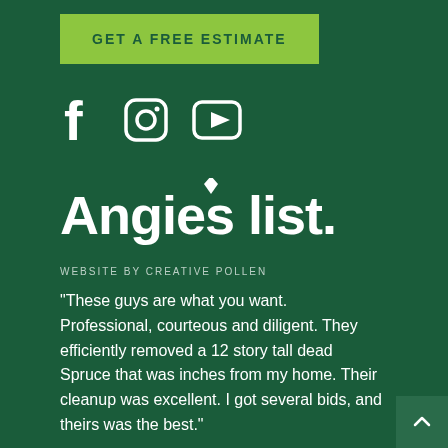GET A FREE ESTIMATE
[Figure (logo): Social media icons: Facebook, Instagram, YouTube in white on dark green background]
[Figure (logo): Angie's list logo in white on dark green background]
WEBSITE BY CREATIVE POLLEN
"These guys are what you want. Professional, courteous and diligent. They efficiently removed a 12 story tall dead Spruce that was inches from my home. Their cleanup was excellent. I got several bids, and theirs was the best."